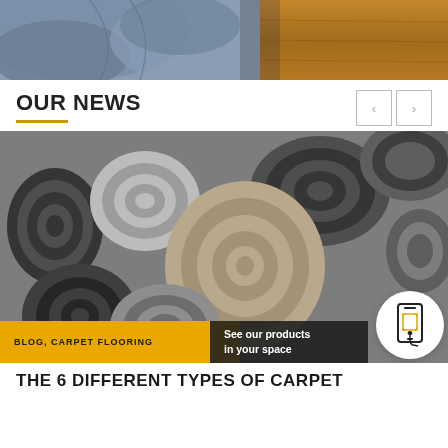[Figure (photo): Top cropped photo showing person in blue jeans crouching on orange/brown hardwood floor]
OUR NEWS
[Figure (photo): Photo of multiple rolled carpet samples stacked together in grey and beige tones, with blog label 'BLOG, CARPET FLOORING' on bottom left, 'See our products in your space' overlay, and phone/AR icon circle on bottom right]
BLOG, CARPET FLOORING
THE 6 DIFFERENT TYPES OF CARPET